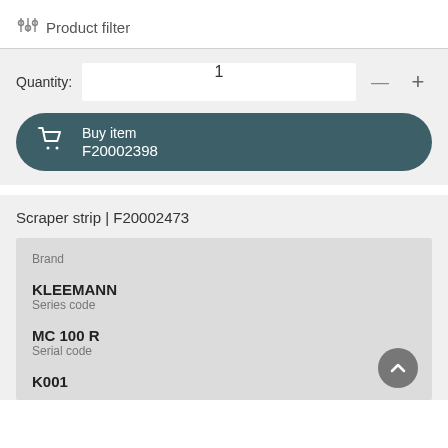Product filter
Quantity: 1
Buy item F20002398
Scraper strip | F20002473
Brand
KLEEMANN
Series code
MC 100 R
Serial code
K001